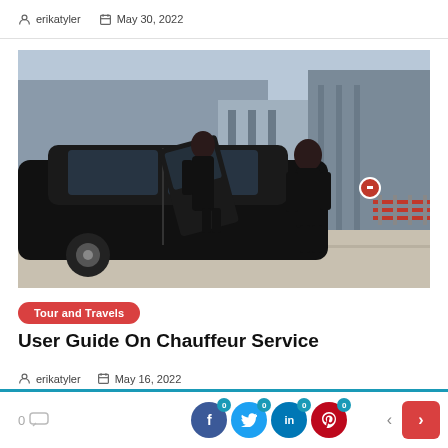erikatyler   May 30, 2022
[Figure (photo): A chauffeur in black coat opening the door of a black luxury car for a passenger, with urban building and bicycle rack in background.]
Tour and Travels
User Guide On Chauffeur Service
erikatyler   May 16, 2022
0 comments | 0 Facebook shares | 0 Twitter shares | 0 LinkedIn shares | 0 Pinterest shares